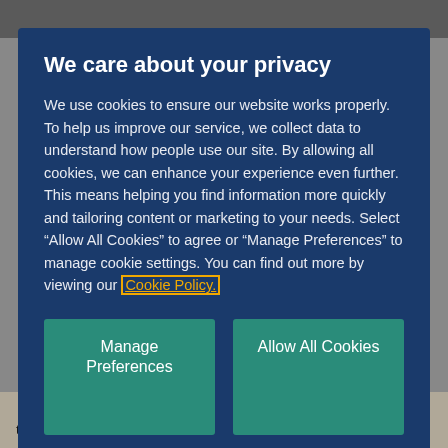We care about your privacy
We use cookies to ensure our website works properly. To help us improve our service, we collect data to understand how people use our site. By allowing all cookies, we can enhance your experience even further. This means helping you find information more quickly and tailoring content or marketing to your needs. Select “Allow All Cookies” to agree or “Manage Preferences” to manage cookie settings. You can find out more by viewing our Cookie Policy.
Manage Preferences
Allow All Cookies
that your interest rate will not change during the term